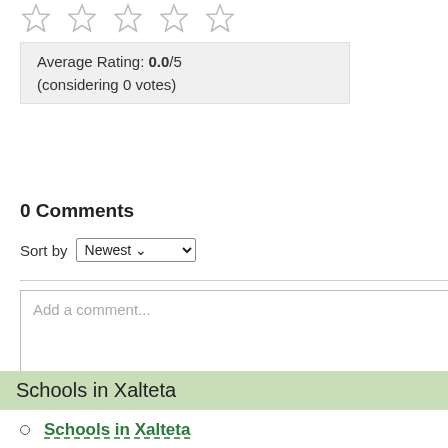[Figure (other): Five empty star rating icons in a row]
Average Rating: 0.0/5 (considering 0 votes)
0 Comments
Sort by Newest
Add a comment...
Facebook Comments Plugin
Schools in Xalteta
Schools in Xalteta